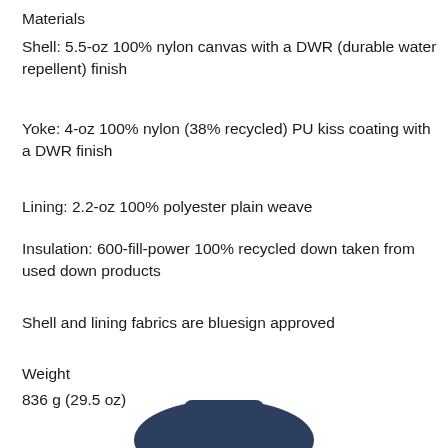Materials
Shell: 5.5-oz 100% nylon canvas with a DWR (durable water repellent) finish
Yoke: 4-oz 100% nylon (38% recycled) PU kiss coating with a DWR finish
Lining: 2.2-oz 100% polyester plain weave
Insulation: 600-fill-power 100% recycled down taken from used down products
Shell and lining fabrics are bluesign approved
Weight
836 g (29.5 oz)
[Figure (photo): Partial view of a navy blue insulated jacket/vest product]